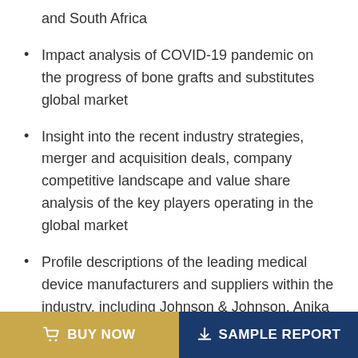and South Africa
Impact analysis of COVID-19 pandemic on the progress of bone grafts and substitutes global market
Insight into the recent industry strategies, merger and acquisition deals, company competitive landscape and value share analysis of the key players operating in the global market
Profile descriptions of the leading medical device manufacturers and suppliers within the industry, including Johnson & Johnson, Anika Therapeutics Inc., Cook Medical Inc., Patterson Companies, Integra and Zimmer Biomet Holdings
BUY NOW   SAMPLE REPORT